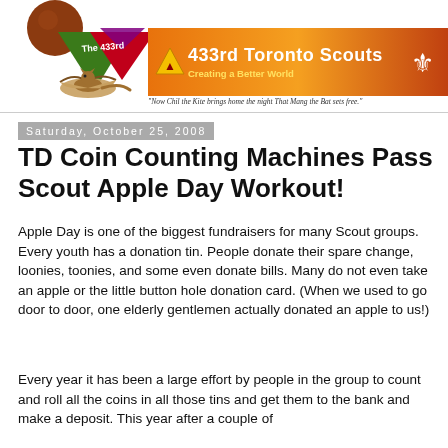[Figure (logo): 433rd Toronto Scouts banner with mascot (squirrel with ball), green/red/purple triangle shape with 'The 433rd' text, orange gradient bar with scout fleur-de-lis, title '433rd Toronto Scouts', subtitle 'Creating a Better World', and italic tagline]
Saturday, October 25, 2008
TD Coin Counting Machines Pass Scout Apple Day Workout!
Apple Day is one of the biggest fundraisers for many Scout groups. Every youth has a donation tin. People donate their spare change, loonies, toonies, and some even donate bills. Many do not even take an apple or the little button hole donation card. (When we used to go door to door, one elderly gentlemen actually donated an apple to us!)
Every year it has been a large effort by people in the group to count and roll all the coins in all those tins and get them to the bank and make a deposit. This year after a couple of